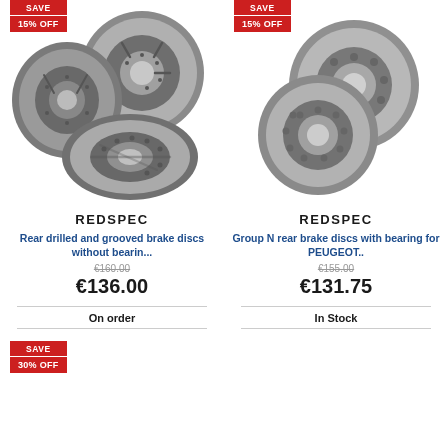[Figure (photo): Three drilled and grooved brake discs (Redspec), with SAVE / 15% OFF red badge]
REDSPEC
Rear drilled and grooved brake discs without bearin...
€160.00 (strikethrough original price)
€136.00
On order
[Figure (photo): Two plain brake discs with bearing holes (Redspec), with SAVE / 15% OFF red badge]
REDSPEC
Group N rear brake discs with bearing for PEUGEOT..
€155.00 (strikethrough original price)
€131.75
In Stock
[Figure (photo): Partial product card with SAVE / 30% OFF red badge at bottom left]